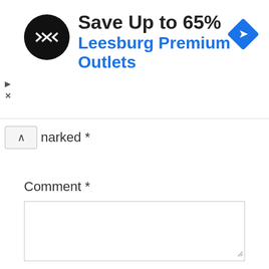[Figure (screenshot): Advertisement banner: black circular logo with angular arrow symbols, text 'Save Up to 65%' in bold dark text and 'Leesburg Premium Outlets' in blue bold text, blue diamond navigation icon on the right, play and close controls on the far left]
narked *
Comment *
[Figure (screenshot): Empty comment text area input box with resize handle at bottom right]